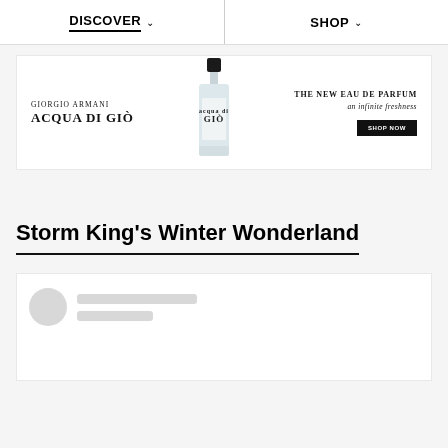DISCOVER   SHOP
[Figure (illustration): Giorgio Armani Acqua Di Giò perfume advertisement banner. Left: brand name 'GIORGIO ARMANI ACQUA DI GIÒ'. Center: product bottle image. Right: 'THE NEW EAU DE PARFUM an infinite freshness' with a 'SHOP NOW' button.]
Storm King's Winter Wonderland
[Figure (other): Loading skeleton card with circular avatar placeholder and two rectangular line placeholders, representing a loading content card.]